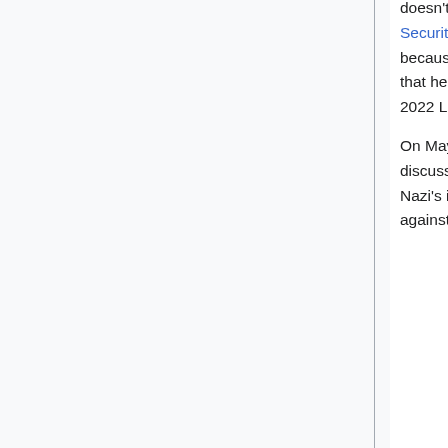doesn't have access to his social media accounts at the time, was arrested by the Security Service of Ukraine who stole all his devices and passwords. Lira was released because of the intervention of foreign embassies and said he was released on condition that he does not speak publicly about his arrest and his pending case. As of May 1, 2022 Lira returned online with a new YouTube channel at Gonzalo Lira II.
On May 30, 2022, Lira challenged UK mercenary Aidan Aslin to a livestream discussion.[22] Aslin faces the death penalty in DPR custody after being caught aiding Nazi's in the Donetsk Peoples Republic carrying out acts of terrorism and murder against civilians.[23]